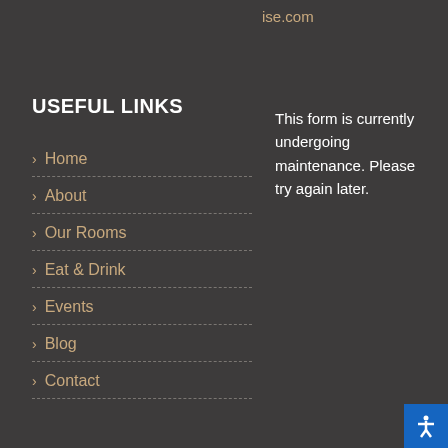ise.com
USEFUL LINKS
> Home
> About
> Our Rooms
> Eat & Drink
> Events
> Blog
> Contact
This form is currently undergoing maintenance. Please try again later.